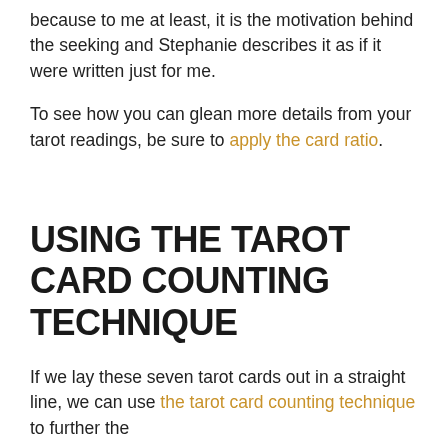because to me at least, it is the motivation behind the seeking and Stephanie describes it as if it were written just for me.
To see how you can glean more details from your tarot readings, be sure to apply the card ratio.
USING THE TAROT CARD COUNTING TECHNIQUE
If we lay these seven tarot cards out in a straight line, we can use the tarot card counting technique to...